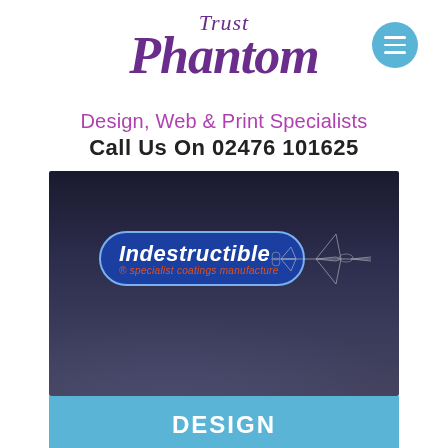[Figure (logo): Trust Phantom logo in purple italic handwritten style with menu hamburger button in blue circle]
Design, Web & Print Specialists
Call Us On 02476 101625
[Figure (screenshot): Dark background hero image featuring Indestructible specialist coatings manufacture logo with a jet aircraft wireframe graphic]
DESIGN
PRINT
PROMOTIONAL